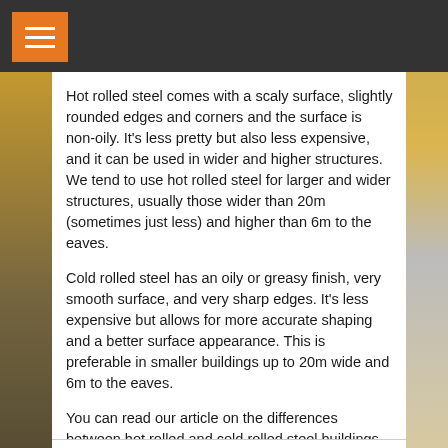Hot rolled steel comes with a scaly surface, slightly rounded edges and corners and the surface is non-oily. It’s less pretty but also less expensive, and it can be used in wider and higher structures. We tend to use hot rolled steel for larger and wider structures, usually those wider than 20m (sometimes just less) and higher than 6m to the eaves.
Cold rolled steel has an oily or greasy finish, very smooth surface, and very sharp edges. It’s less expensive but allows for more accurate shaping and a better surface appearance. This is preferable in smaller buildings up to 20m wide and 6m to the eaves.
You can read our article on the differences between hot rolled and cold rolled steel buildings by clicking here.